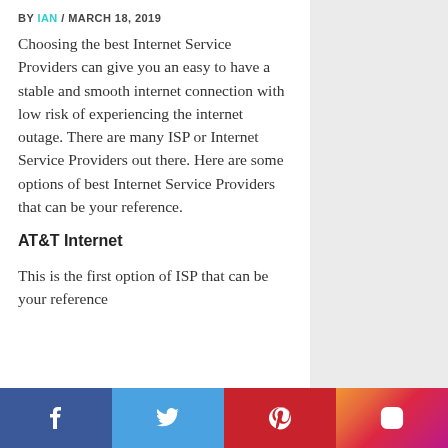BY IAN / MARCH 18, 2019
Choosing the best Internet Service Providers can give you an easy to have a stable and smooth internet connection with low risk of experiencing the internet outage. There are many ISP or Internet Service Providers out there. Here are some options of best Internet Service Providers that can be your reference.
AT&T Internet
This is the first option of ISP that can be your reference